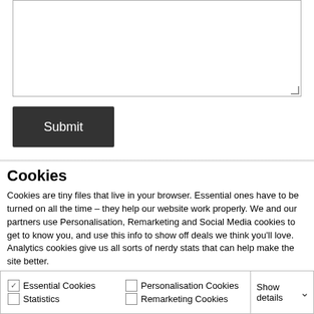[Figure (screenshot): A textarea input box (empty) with resize handle in bottom-right corner]
[Figure (screenshot): A dark grey Submit button]
Cookies
Cookies are tiny files that live in your browser. Essential ones have to be turned on all the time – they help our website work properly. We and our partners use Personalisation, Remarketing and Social Media cookies to get to know you, and use this info to show off deals we think you'll love. Analytics cookies give us all sorts of nerdy stats that can help make the site better.
[Figure (screenshot): Green button: Allow all cookies]
[Figure (screenshot): Green button: Allow selection]
[Figure (screenshot): Dark button: Use necessary cookies only]
[Figure (screenshot): Cookie preference bar with checkboxes: Essential Cookies (checked), Personalisation Cookies (unchecked), Statistics (unchecked), Remarketing Cookies (unchecked), and Show details dropdown]